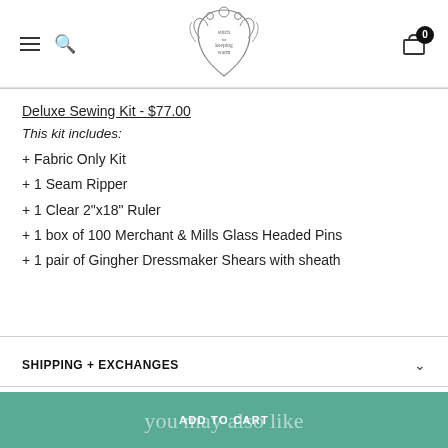Navigation header with hamburger menu, search icon, logo (stitch for keeping warm), and cart with 0 items
Deluxe Sewing Kit - $77.00
This kit includes:
+ Fabric Only Kit
+ 1 Seam Ripper
+ 1 Clear 2"x18" Ruler
+ 1 box of 100 Merchant & Mills Glass Headed Pins
+ 1 pair of Gingher Dressmaker Shears with sheath
SHIPPING + EXCHANGES
you may also like
ADD TO CART